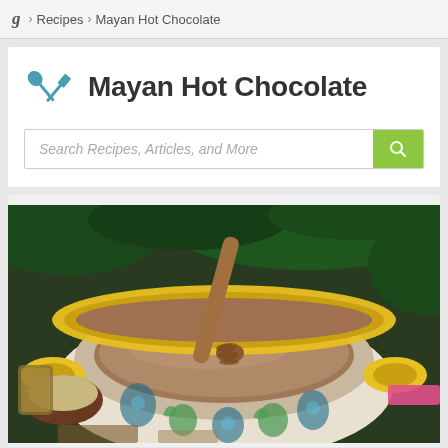g > Recipes > Mayan Hot Chocolate
Mayan Hot Chocolate
Search Recipes, Articles, and More
[Figure (photo): A decorative blue and white Mexican Talavera bowl with yellow rim handles filled with chocolate drink, a wooden honey dipper resting inside, surrounded by pine branches and holiday decorations]